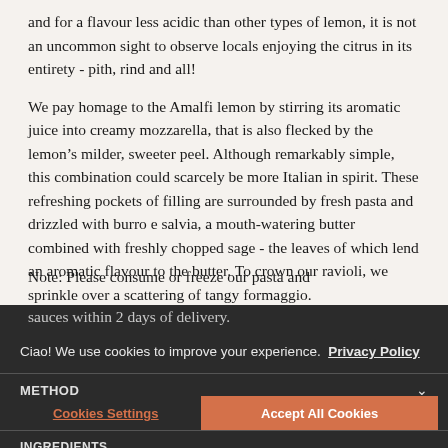and for a flavour less acidic than other types of lemon, it is not an uncommon sight to observe locals enjoying the citrus in its entirety - pith, rind and all!
We pay homage to the Amalfi lemon by stirring its aromatic juice into creamy mozzarella, that is also flecked by the lemon’s milder, sweeter peel. Although remarkably simple, this combination could scarcely be more Italian in spirit. These refreshing pockets of filling are surrounded by fresh pasta and drizzled with burro e salvia, a mouth-watering butter combined with freshly chopped sage - the leaves of which lend an aromatic flavour to the butter. To crown our ravioli, we sprinkle over a scattering of tangy formaggio.
Note: Please consume or freeze our pasta and sauces within 2 days of delivery.
Ciao! We use cookies to improve your experience.  Privacy Policy
METHOD
Cookies Settings
Accept All Cookies
INGREDIENTS